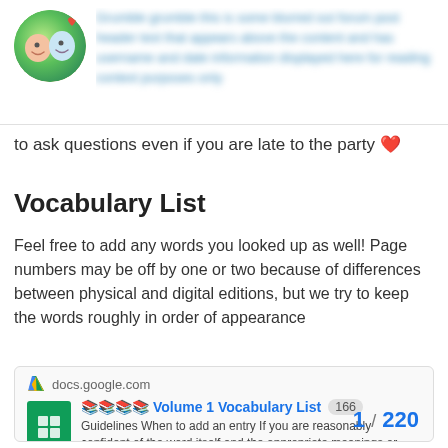[Figure (illustration): User avatar — cartoon illustration of two children with a small heart, circular crop]
[blurred/redacted header text from forum post]
to ask questions even if you are late to the party ❤️
Vocabulary List
Feel free to add any words you looked up as well! Page numbers may be off by one or two because of differences between physical and digital editions, but we try to keep the words roughly in order of appearance
[Figure (screenshot): Google Docs link card for '📚📚📚📚 Volume 1 Vocabulary List' with description text beginning 'Guidelines When to add an entry If you are reasonably confident of the word itself and the appropriate meanings or translation within the conte... Please don't add words if you are unsu...' and page count '1 / 220']